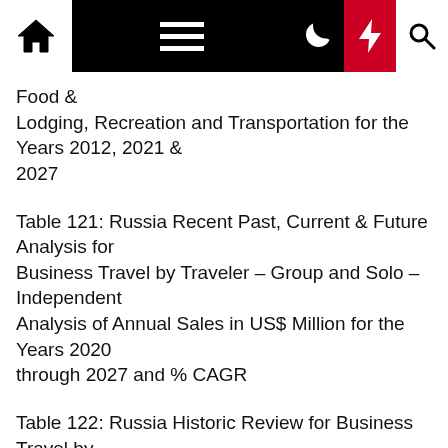Navigation bar with home, menu, dark mode, lightning, and search icons
Food & Lodging, Recreation and Transportation for the Years 2012, 2021 & 2027
Table 121: Russia Recent Past, Current & Future Analysis for Business Travel by Traveler – Group and Solo – Independent Analysis of Annual Sales in US$ Million for the Years 2020 through 2027 and % CAGR
Table 122: Russia Historic Review for Business Travel by Traveler – Group and Solo Markets – Independent Analysis of Annual Sales in US$ Million for the Years